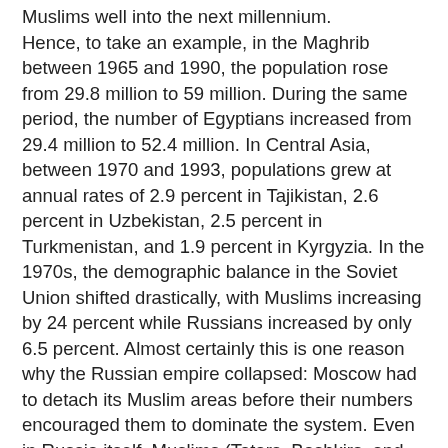Muslims well into the next millennium. Hence, to take an example, in the Maghrib between 1965 and 1990, the population rose from 29.8 million to 59 million. During the same period, the number of Egyptians increased from 29.4 million to 52.4 million. In Central Asia, between 1970 and 1993, populations grew at annual rates of 2.9 percent in Tajikistan, 2.6 percent in Uzbekistan, 2.5 percent in Turkmenistan, and 1.9 percent in Kyrgyzia. In the 1970s, the demographic balance in the Soviet Union shifted drastically, with Muslims increasing by 24 percent while Russians increased by only 6.5 percent. Almost certainly this is one reason why the Russian empire collapsed: Moscow had to detach its Muslim areas before their numbers encouraged them to dominate the system. Even in Russia itself, Muslims (Tatars, Bashkirs, and Chuvash, as well as immigrants) are very visible, accounting for over 10 percent of the populations of both Moscow and St Petersburg. This reminds us that the increase in the Muslim heartlands will have a significant impact in Muslim minority areas as well. In some countries, such as Tanzania and Macedonia, the Muslims will become a majority within twenty years. Largely through immigration, the Muslim population of the United States grew sixfold between 1973 and 1990. And